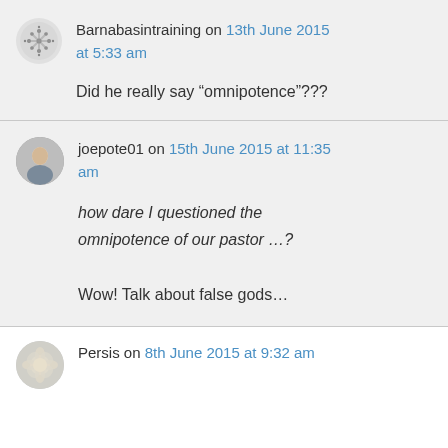Barnabasintraining on 13th June 2015 at 5:33 am
Did he really say “omnipotence”???
joepote01 on 15th June 2015 at 11:35 am
how dare I questioned the omnipotence of our pastor …?

Wow! Talk about false gods…
Persis on 8th June 2015 at 9:32 am